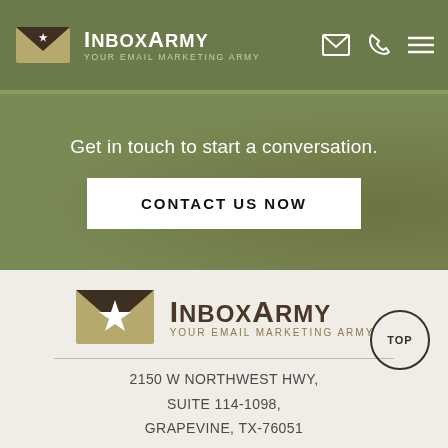[Figure (logo): InboxArmy logo with envelope icon and text - white version on olive green header]
Get in touch to start a conversation.
CONTACT US NOW
[Figure (logo): InboxArmy logo with envelope icon - dark version on light background]
2150 W NORTHWEST HWY,
SUITE 114-1098,
GRAPEVINE, TX-76051